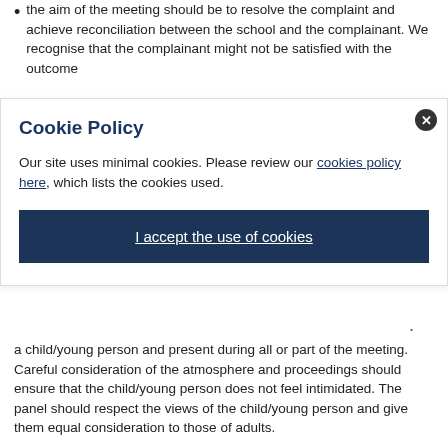the aim of the meeting should be to resolve the complaint and achieve reconciliation between the school and the complainant. We recognise that the complainant might not be satisfied with the outcome
Cookie Policy
Our site uses minimal cookies. Please review our cookies policy here, which lists the cookies used.
I accept the use of cookies
a child/young person and present during all or part of the meeting. Careful consideration of the atmosphere and proceedings should ensure that the child/young person does not feel intimidated. The panel should respect the views of the child/young person and give them equal consideration to those of adults.